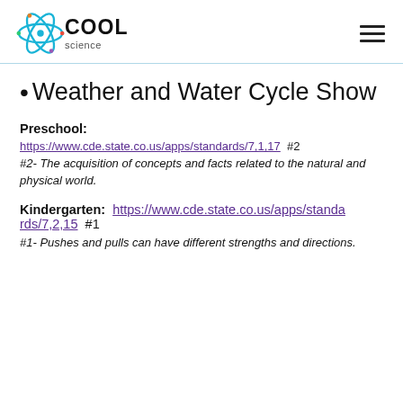[Figure (logo): Cool Science logo with atom graphic and text]
• Weather and Water Cycle Show
Preschool:
https://www.cde.state.co.us/apps/standards/7,1,17  #2
#2-  The acquisition of concepts and facts related to the natural and physical world.
Kindergarten:  https://www.cde.state.co.us/apps/standards/7,2,15  #1
#1-  Pushes and pulls can have different strengths and directions.